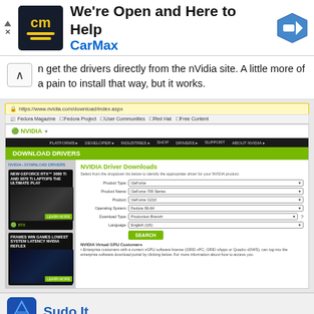[Figure (screenshot): CarMax advertisement banner: 'We're Open and Here to Help' with CarMax logo and navigation arrow icon]
n get the drivers directly from the nVidia site. A little more of a pain to install that way, but it works.
[Figure (screenshot): Screenshot of NVIDIA Driver Downloads page at https://www.nvidia.com/download/index.aspx showing product selection form with fields for Product Type (GeForce), Product Name (GeForce 700 Series), Product (GeForce 4210), Operating System (Fedora 06-64), Download Type (Production Branch), Language (English (US)), and a SEARCH button. Left side shows two NVIDIA RTX advertisement cards.]
[Figure (screenshot): Sudo It advertisement banner at bottom of page with blue logo]